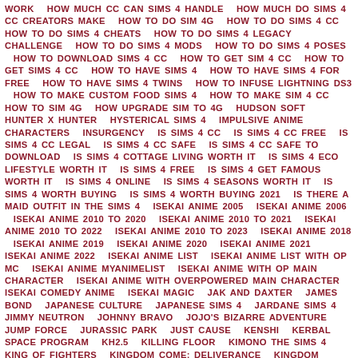WORK   HOW MUCH CC CAN SIMS 4 HANDLE   HOW MUCH DO SIMS 4 CC CREATORS MAKE   HOW TO DO SIM 4G   HOW TO DO SIMS 4 CC   HOW TO DO SIMS 4 CHEATS   HOW TO DO SIMS 4 LEGACY CHALLENGE   HOW TO DO SIMS 4 MODS   HOW TO DO SIMS 4 POSES   HOW TO DOWNLOAD SIMS 4 CC   HOW TO GET SIM 4 CC   HOW TO GET SIMS 4 CC   HOW TO HAVE SIMS 4   HOW TO HAVE SIMS 4 FOR FREE   HOW TO HAVE SIMS 4 TWINS   HOW TO INFUSE LIGHTNING DS3   HOW TO MAKE CUSTOM FOOD SIMS 4   HOW TO MAKE SIM 4 CC   HOW TO SIM 4G   HOW UPGRADE SIM TO 4G   HUDSON SOFT   HUNTER X HUNTER   HYSTERICAL SIMS 4   IMPULSIVE ANIME CHARACTERS   INSURGENCY   IS SIMS 4 CC   IS SIMS 4 CC FREE   IS SIMS 4 CC LEGAL   IS SIMS 4 CC SAFE   IS SIMS 4 CC SAFE TO DOWNLOAD   IS SIMS 4 COTTAGE LIVING WORTH IT   IS SIMS 4 ECO LIFESTYLE WORTH IT   IS SIMS 4 FREE   IS SIMS 4 GET FAMOUS WORTH IT   IS SIMS 4 ONLINE   IS SIMS 4 SEASONS WORTH IT   IS SIMS 4 WORTH BUYING   IS SIMS 4 WORTH BUYING 2021   IS THERE A MAID OUTFIT IN THE SIMS 4   ISEKAI ANIME 2005   ISEKAI ANIME 2006   ISEKAI ANIME 2010 TO 2020   ISEKAI ANIME 2010 TO 2021   ISEKAI ANIME 2010 TO 2022   ISEKAI ANIME 2010 TO 2023   ISEKAI ANIME 2018   ISEKAI ANIME 2019   ISEKAI ANIME 2020   ISEKAI ANIME 2021   ISEKAI ANIME 2022   ISEKAI ANIME LIST   ISEKAI ANIME LIST WITH OP MC   ISEKAI ANIME MYANIMELIST   ISEKAI ANIME WITH OP MAIN CHARACTER   ISEKAI ANIME WITH OVERPOWERED MAIN CHARACTER   ISEKAI COMEDY ANIME   ISEKAI MAGIC   JAK AND DAXTER   JAMES BOND   JAPANESE CULTURE   JAPANESE SIMS 4   JARDANE SIMS 4   JIMMY NEUTRON   JOHNNY BRAVO   JOJO'S BIZARRE ADVENTURE   JUMP FORCE   JURASSIC PARK   JUST CAUSE   KENSHI   KERBAL SPACE PROGRAM   KH2.5   KILLING FLOOR   KIMONO THE SIMS 4   KING OF FIGHTERS   KINGDOM COME: DELIVERANCE   KINGDOM HEARTS   KIRBY   KOREAN SKIN TONE SIMS 4   LAUGHING BY THE FIRESIDE CHAIR   LEAGUE OF LEGENDS   LEFT 4 DEAD   LEGEND OF GRIMROCK   LEGEND OF ZELDA   LEGO   LIQUOR & BEER CC (ALL FREE)   LIST ANIME ISEKAI   LITTLE BOW BUB   LOL LAUGHING POSES BY CLOVER   LOONEY TOONS   LORD OF THE